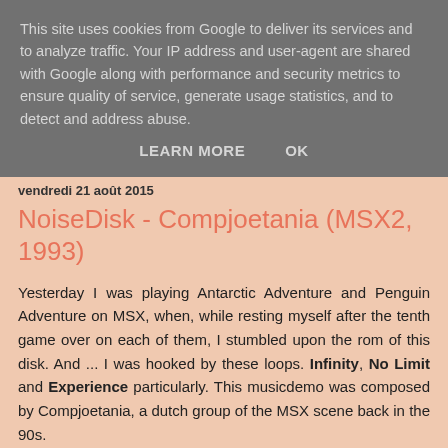This site uses cookies from Google to deliver its services and to analyze traffic. Your IP address and user-agent are shared with Google along with performance and security metrics to ensure quality of service, generate usage statistics, and to detect and address abuse.
LEARN MORE    OK
vendredi 21 août 2015
NoiseDisk - Compjoetania (MSX2, 1993)
Yesterday I was playing Antarctic Adventure and Penguin Adventure on MSX, when, while resting myself after the tenth game over on each of them, I stumbled upon the rom of this disk. And ... I was hooked by these loops. Infinity, No Limit and Experience particularly. This musicdemo was composed by Compjoetania, a dutch group of the MSX scene back in the 90s.